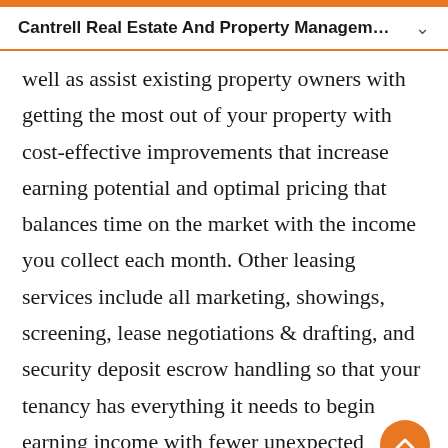Cantrell Real Estate And Property Management
well as assist existing property owners with getting the most out of your property with cost-effective improvements that increase earning potential and optimal pricing that balances time on the market with the income you collect each month. Other leasing services include all marketing, showings, screening, lease negotiations & drafting, and security deposit escrow handling so that your tenancy has everything it needs to begin earning income with fewer unexpected